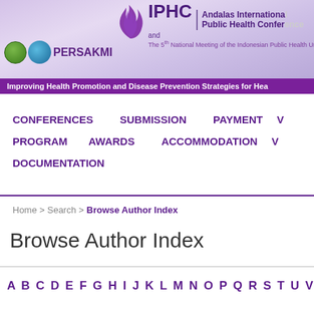AIPHC Andalas International Public Health Conference and The 5th National Meeting of the Indonesian Public Health
PERSAKMI
Improving Health Promotion and Disease Prevention Strategies for Hea
CONFERENCES
SUBMISSION
PAYMENT
PROGRAM
AWARDS
ACCOMMODATION
DOCUMENTATION
Home > Search > Browse Author Index
Browse Author Index
A B C D E F G H I J K L M N O P Q R S T U V W X Y Z A